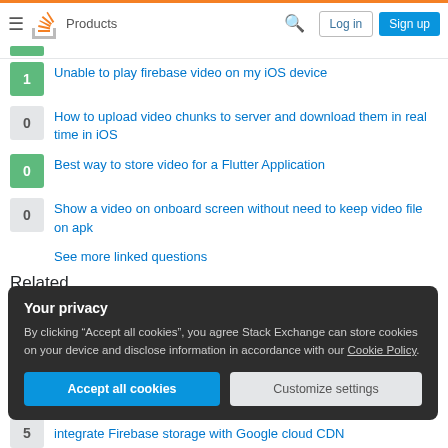Stack Overflow — hamburger menu, logo, Products, search, Log in, Sign up
1 — Unable to play firebase video on my iOS device
0 — How to upload video chunks to server and download them in real time in iOS
0 — Best way to store video for a Flutter Application
0 — Show a video on onboard screen without need to keep video file on apk
See more linked questions
Related
Your privacy
By clicking "Accept all cookies", you agree Stack Exchange can store cookies on your device and disclose information in accordance with our Cookie Policy.
Accept all cookies   Customize settings
5 — integrate Firebase storage with Google cloud CDN